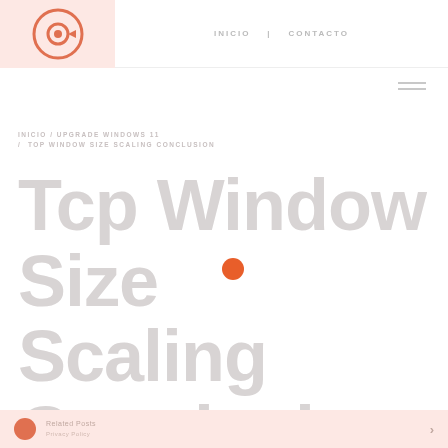[Figure (logo): Website logo with circular icon on pink/salmon background]
INICIO  |  CONTACTO
INICIO / UPGRADE WINDOWS 11 / TOP WINDOW SIZE SCALING CONCLUSION
Tcp Window Size Scaling Conclusion
Related Posts | Privacy Policy